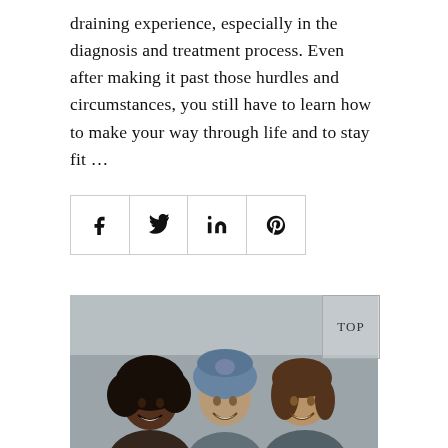draining experience, especially in the diagnosis and treatment process. Even after making it past those hurdles and circumstances, you still have to learn how to make your way through life and to stay fit ...
[Figure (other): Social share buttons: Facebook (f), Twitter (bird), LinkedIn (in), Pinterest (p) — four square icon buttons in a row]
[Figure (photo): Three smiling women together; one Black woman with curly hair on the left, one Asian woman wearing a blue head wrap in the center, one woman with brown hair on the right. Indoor setting.]